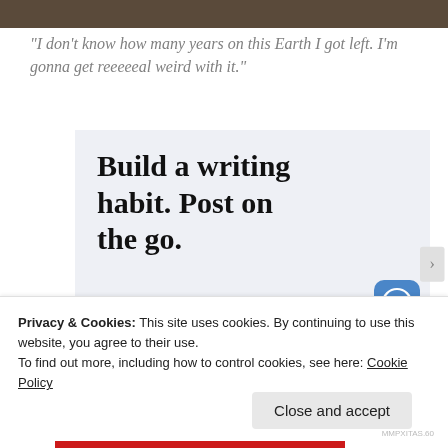[Figure (photo): Top portion of a photograph, dark/brown tones, partially visible]
“I don’t know how many years on this Earth I got left. I’m gonna get reeeeeal weird with it.”
[Figure (infographic): WordPress app advertisement with light blue-gray background. Text reads 'Build a writing habit. Post on the go.' with 'GET THE APP' CTA and WordPress logo icon.]
Privacy & Cookies: This site uses cookies. By continuing to use this website, you agree to their use.
To find out more, including how to control cookies, see here: Cookie Policy
Close and accept